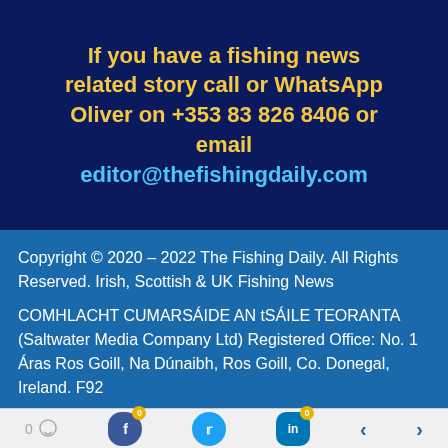If you have a fishing news related story call or WhatsApp Oliver on +353 83 826 8406 or email editor@thefishingdaily.com
Copyright © 2020 – 2022 The Fishing Daily. All Rights Reserved. Irish, Scottish & UK Fishing News
COMHLACHT CUMARSÁIDE AN tSÁILE TEORANTA (Saltwater Media Company Ltd) Registered Office: No. 1 Áras Ros Goill, Na Dúnaibh, Ros Goill, Co. Donegal, Ireland. F92
[Figure (other): Social share footer bar with comment count (0), Facebook share button (0), Twitter share button, LinkedIn share button (0), and left/right navigation arrows]